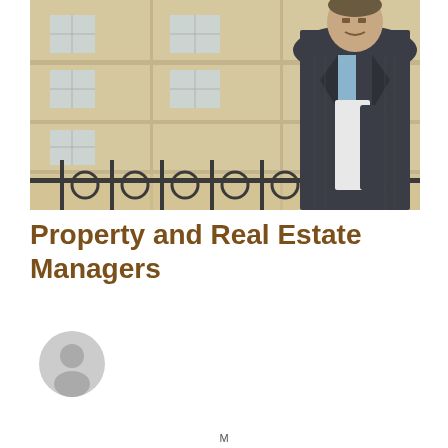[Figure (photo): A man in a dark pinstripe suit holding documents, standing on a balcony in front of a beige building with windows.]
Property and Real Estate Managers
[Figure (illustration): Grey circular avatar/user silhouette icon.]
M